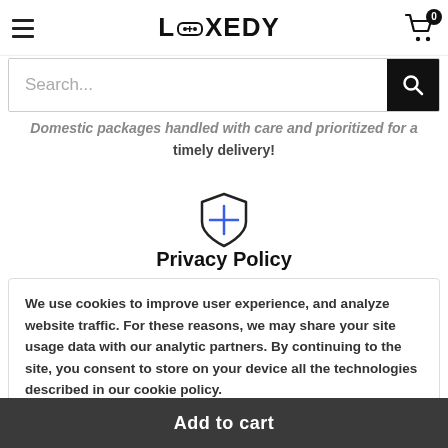LOXEDY
Domestic packages handled with care and prioritized for a timely delivery!
[Figure (illustration): Shield icon with a cross/plus symbol, outlined in dark blue]
Privacy Policy
We use cookies to improve user experience, and analyze website traffic. For these reasons, we may share your site usage data with our analytic partners. By continuing to the site, you consent to store on your device all the technologies described in our cookie policy.
Add to cart